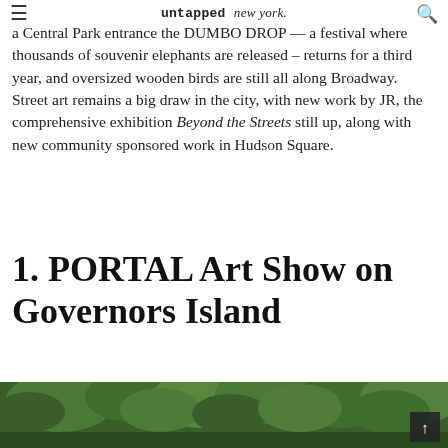untapped new york.
a Central Park entrance the DUMBO DROP — a festival where thousands of souvenir elephants are released – returns for a third year, and oversized wooden birds are still all along Broadway. Street art remains a big draw in the city, with new work by JR, the comprehensive exhibition Beyond the Streets still up, along with new community sponsored work in Hudson Square.
1. PORTAL Art Show on Governors Island
[Figure (photo): Photo of trees on Governors Island, green foliage visible]